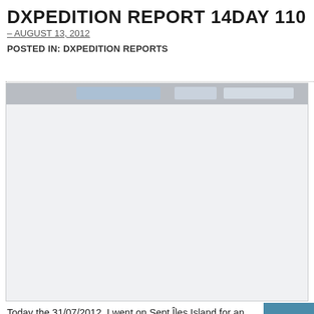DXPEDITION REPORT 14DAY 110 QC...
– AUGUST 13, 2012
POSTED IN: DXPEDITION REPORTS
[Figure (screenshot): A screenshot showing a web browser or application window with a gray/blue toolbar at the top and a large light gray/white content area below, mostly blank.]
Today the 31/07/2012, I went on Sept Îles Island for an activation